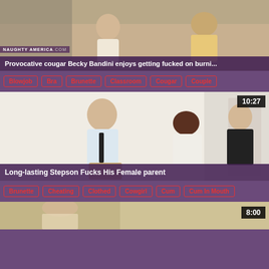[Figure (photo): Top thumbnail of video - classroom/kitchen scene with people]
Provocative cougar Becky Bandini enjoys getting fucked on burni...
NAUGHTY AMERICA .COM
Blowjob
Bra
Brunette
Classroom
Cougar
Couple
[Figure (photo): Video thumbnail showing two men and a woman in a room, duration 10:27]
Long-lasting Stepson Fucks His Female parent
Brunette
Cheating
Clothed
Cowgirl
Cum
Cum In Mouth
[Figure (photo): Bottom partial video thumbnail, duration 8:00]